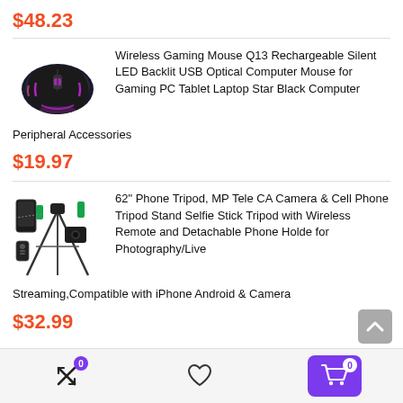$48.23
[Figure (photo): Wireless Gaming Mouse Q13 product photo - black and purple gaming mouse]
Wireless Gaming Mouse Q13 Rechargeable Silent LED Backlit USB Optical Computer Mouse for Gaming PC Tablet Laptop Star Black Computer Peripheral Accessories
$19.97
[Figure (photo): 62 inch phone tripod product photo with selfie stick, phone mount, and wireless remote]
62" Phone Tripod, MP Tele CA Camera & Cell Phone Tripod Stand Selfie Stick Tripod with Wireless Remote and Detachable Phone Holde for Photography/Live Streaming,Compatible with iPhone Android & Camera
$32.99
Navigation bar with compare (0), wishlist, and cart (0) icons